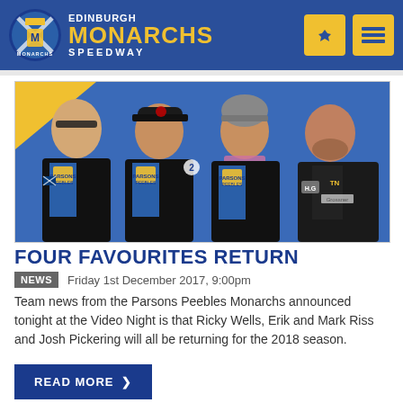Edinburgh Monarchs Speedway
[Figure (photo): Four speedway riders in Edinburgh Monarchs team kit (black, blue, yellow) posing together. All wearing Parsons Peebles sponsored race jackets. One wearing sunglasses, one in a baseball cap, one in a grey beanie hat.]
FOUR FAVOURITES RETURN
NEWS   Friday 1st December 2017, 9:00pm
Team news from the Parsons Peebles Monarchs announced tonight at the Video Night is that Ricky Wells, Erik and Mark Riss and Josh Pickering will all be returning for the 2018 season.
READ MORE >